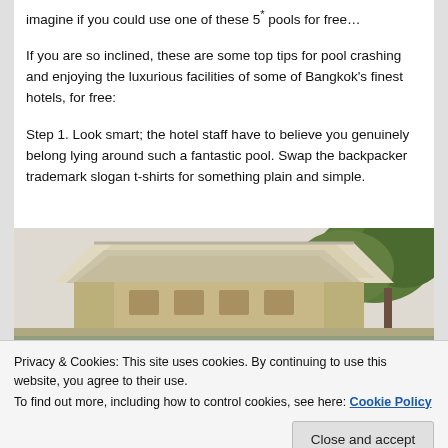imagine if you could use one of these 5* pools for free…
If you are so inclined, these are some top tips for pool crashing and enjoying the luxurious facilities of some of Bangkok's finest hotels, for free:
Step 1. Look smart; the hotel staff have to believe you genuinely belong lying around such a fantastic pool. Swap the backpacker trademark slogan t-shirts for something plain and simple.
[Figure (photo): Photo of a hotel building with a thatched/canopy roof structure and tropical trees in the background]
Privacy & Cookies: This site uses cookies. By continuing to use this website, you agree to their use.
To find out more, including how to control cookies, see here: Cookie Policy
Close and accept